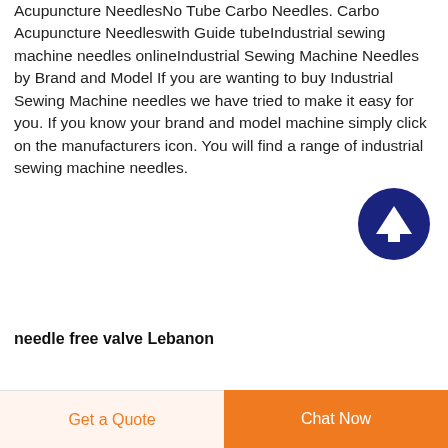Acupuncture NeedlesNo Tube Carbo Needles. Carbo Acupuncture Needleswith Guide tubeIndustrial sewing machine needles onlineIndustrial Sewing Machine Needles by Brand and Model If you are wanting to buy Industrial Sewing Machine needles we have tried to make it easy for you. If you know your brand and model machine simply click on the manufacturers icon. You will find a range of industrial sewing machine needles.
[Figure (other): Dark navy blue circular scroll-to-top button with white upward arrow icon]
needle free valve Lebanon
Get a Quote
Chat Now